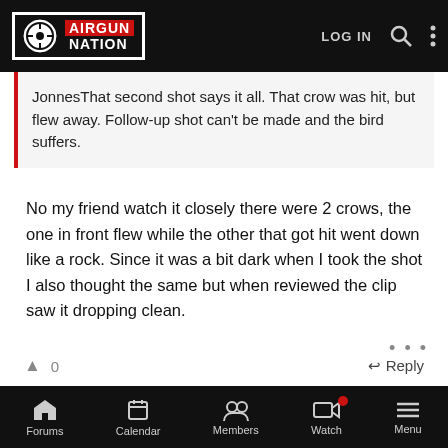Airgun Nation — LOG IN
JonnesThat second shot says it all. That crow was hit, but flew away. Follow-up shot can't be made and the bird suffers.
No my friend watch it closely there were 2 crows, the one in front flew while the other that got hit went down like a rock. Since it was a bit dark when I took the shot I also thought the same but when reviewed the clip saw it dropping clean.
0   Reply
Jonnes
Member
#16
Sep 20, 2016
Forums   Calendar   Members   Watch   Menu